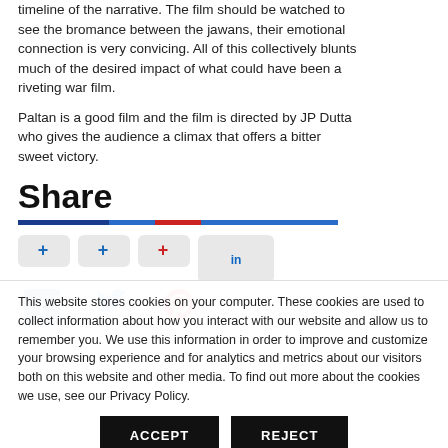timeline of the narrative. The film should be watched to see the bromance between the jawans, their emotional connection is very convicing. All of this collectively blunts much of the desired impact of what could have been a riveting war film.
Paltan is a good film and the film is directed by JP Dutta who gives the audience a climax that offers a bitter sweet victory.
Share
[Figure (infographic): Social share buttons: Facebook, Twitter, Pinterest, LinkedIn with + icons and a colored divider bar]
This website stores cookies on your computer. These cookies are used to collect information about how you interact with our website and allow us to remember you. We use this information in order to improve and customize your browsing experience and for analytics and metrics about our visitors both on this website and other media. To find out more about the cookies we use, see our Privacy Policy.